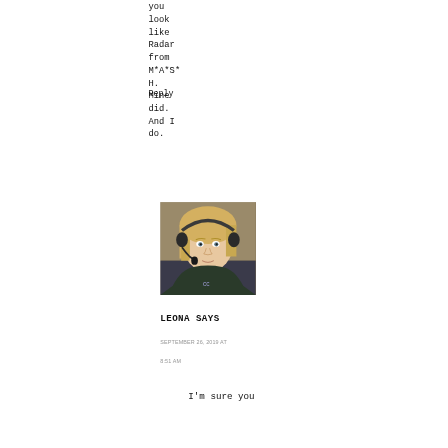you look like Radar from M*A*S*H. Mine did. And I do.
Reply
[Figure (photo): Profile photo of Leona, a blonde woman wearing headphones and a dark jacket, looking at the camera.]
LEONA SAYS
SEPTEMBER 26, 2019 AT
8:51 AM
I'm sure you